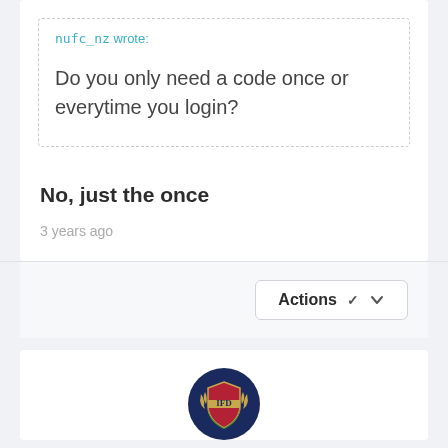nufc_nz wrote:
Do you only need a code once or everytime you login?
No, just the once
3 years ago
[Figure (screenshot): Actions dropdown button with chevron icon]
[Figure (logo): Circular avatar with dark navy background showing a shield/crest logo with red, gold and green colors and laurel wreath]